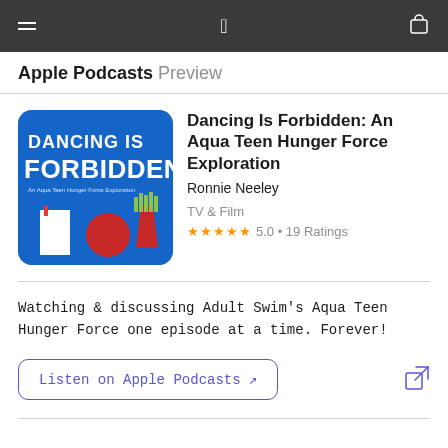Apple Podcasts Preview
[Figure (illustration): Podcast artwork for Dancing Is Forbidden: An Aqua Teen Hunger Force Exploration — blue background with stylized text and cartoon characters (Shake, Meatwad, Frylock)]
Dancing Is Forbidden: An Aqua Teen Hunger Force Exploration
Ronnie Neeley
TV & Film
★★★★★ 5.0 • 19 Ratings
Watching & discussing Adult Swim's Aqua Teen Hunger Force one episode at a time. Forever!
Listen on Apple Podcasts ↗